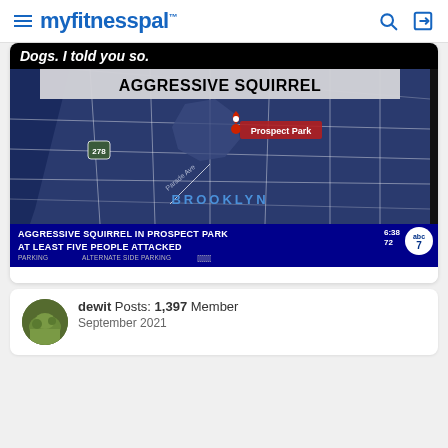myfitnesspal
Dogs. I told you so.
[Figure (screenshot): TV news screenshot showing ABC7 news broadcast with headline 'AGGRESSIVE SQUIRREL' over a map of Brooklyn showing Prospect Park location. Lower ticker reads 'AGGRESSIVE SQUIRREL IN PROSPECT PARK AT LEAST FIVE PEOPLE ATTACKED'. Time shows 6:38, temperature 72. ALTERNATE SIDE PARKING text visible.]
dewit  Posts: 1,397  Member
September 2021